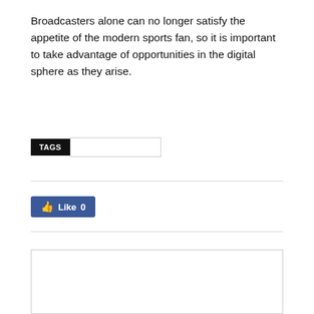Broadcasters alone can no longer satisfy the appetite of the modern sports fan, so it is important to take advantage of opportunities in the digital sphere as they arise.
[Figure (screenshot): TAGS label (black background, white text) followed by an empty text input field]
[Figure (screenshot): Facebook Like button showing thumbs up icon and 'Like 0' text on blue background]
[Figure (screenshot): Empty white box with light gray border at bottom of page]